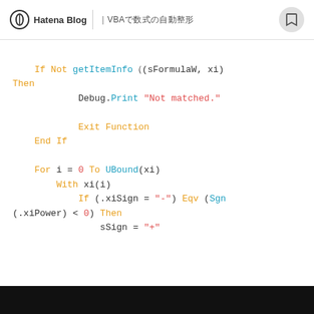Hatena Blog | VBAで数式の自動整形
If Not getItemInfo（(sFormulaW, xi) Then
        Debug.Print "Not matched."

        Exit Function
    End If

    For i = 0 To UBound(xi)
        With xi(i)
            If (.xiSign = "-") Eqv (Sgn(.xiPower) < 0) Then
                sSign = "+"